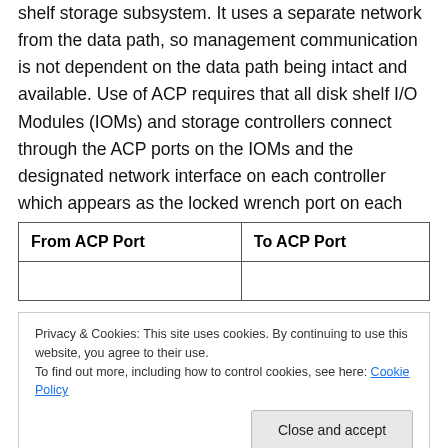shelf storage subsystem. It uses a separate network from the data path, so management communication is not dependent on the data path being intact and available. Use of ACP requires that all disk shelf I/O Modules (IOMs) and storage controllers connect through the ACP ports on the IOMs and the designated network interface on each controller which appears as the locked wrench port on each controller.
| From ACP Port | To ACP Port |
| --- | --- |
|  |  |
Privacy & Cookies: This site uses cookies. By continuing to use this website, you agree to their use.
To find out more, including how to control cookies, see here: Cookie Policy
[Figure (photo): Hardware photo showing two disk shelf modules with orange bars and green connector pins on a dark chassis]